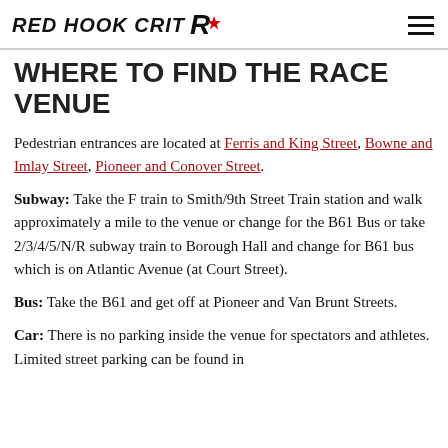RED HOOK CRIT
WHERE TO FIND THE RACE VENUE
Pedestrian entrances are located at Ferris and King Street, Bowne and Imlay Street, Pioneer and Conover Street.
Subway: Take the F train to Smith/9th Street Train station and walk approximately a mile to the venue or change for the B61 Bus or take 2/3/4/5/N/R subway train to Borough Hall and change for B61 bus which is on Atlantic Avenue (at Court Street).
Bus: Take the B61 and get off at Pioneer and Van Brunt Streets.
Car: There is no parking inside the venue for spectators and athletes. Limited street parking can be found in